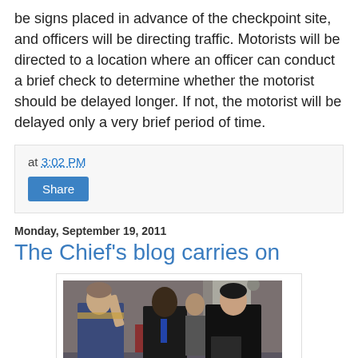be signs placed in advance of the checkpoint site, and officers will be directing traffic. Motorists will be directed to a location where an officer can conduct a brief check to determine whether the motorist should be delayed longer. If not, the motorist will be delayed only a very brief period of time.
at 3:02 PM
Share
Monday, September 19, 2011
The Chief's blog carries on
[Figure (photo): Photo showing a person in military/police uniform raising their right hand as if taking an oath, with two other individuals present including a person in a black robe holding a folder, in an indoor setting.]